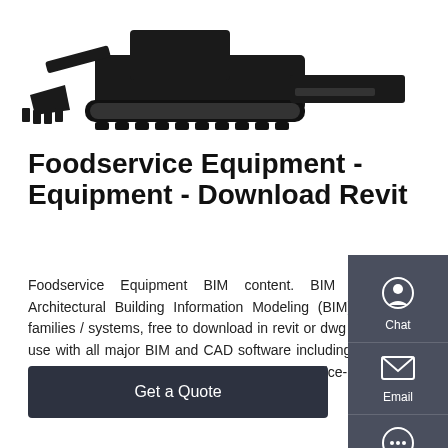[Figure (photo): Black construction/excavator equipment with bucket and dozer blade attachment on tracked undercarriage, shown from above on white background]
Foodservice Equipment - Equipment - Download Revit
Foodservice Equipment BIM content. BIM content - Architectural Building Information Modeling (BIM) objects / families / systems, free to download in revit or dwg formats for use with all major BIM and CAD software including AutoCAD, Sketch-Up, ArchiCAD and others. Food Service-Equipment: Oscartek: C1100-52H: cat.
Get a Quote